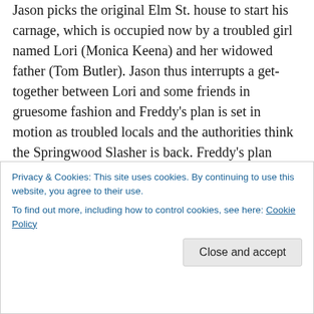Jason picks the original Elm St. house to start his carnage, which is occupied now by a troubled girl named Lori (Monica Keena) and her widowed father (Tom Butler). Jason thus interrupts a get-together between Lori and some friends in gruesome fashion and Freddy's plan is set in motion as troubled locals and the authorities think the Springwood Slasher is back. Freddy's plan seems to be working fine except for two things he didn't expect….One, Lori is a smart and resilient girl who figures things out a lot quicker than Freddy anticipated and rallies him, but must now destroy the very fiend he set in motion.
Privacy & Cookies: This site uses cookies. By continuing to use this website, you agree to their use.
To find out more, including how to control cookies, see here: Cookie Policy